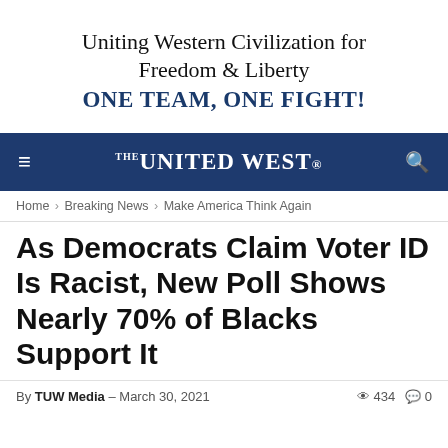Uniting Western Civilization for Freedom & Liberty
ONE TEAM, ONE FIGHT!
THE UNITED WEST
Home › Breaking News › Make America Think Again
As Democrats Claim Voter ID Is Racist, New Poll Shows Nearly 70% of Blacks Support It
By TUW Media – March 30, 2021   👁 434   💬 0